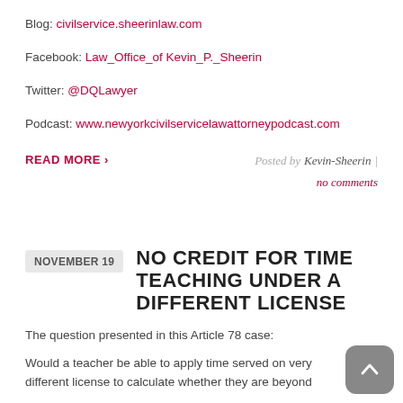Blog: civilservice.sheerinlaw.com
Facebook: Law_Office_of Kevin_P._Sheerin
Twitter: @DQLawyer
Podcast: www.newyorkcivilservicelawattorneypodcast.com
READ MORE > Posted by Kevin-Sheerin | no comments
NO CREDIT FOR TIME TEACHING UNDER A DIFFERENT LICENSE
The question presented in this Article 78 case:
Would a teacher be able to apply time served on very different license to calculate whether they are beyond